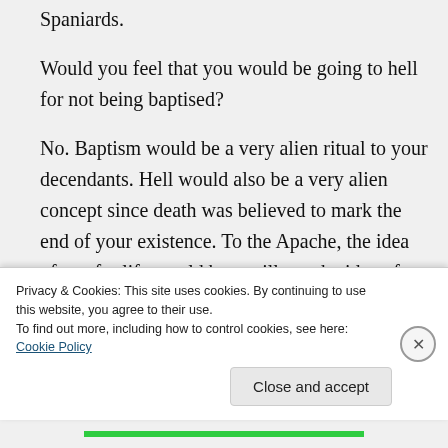Spaniards.
Would you feel that you would be going to hell for not being baptised?
No. Baptism would be a very alien ritual to your decendants. Hell would also be a very alien concept since death was believed to mark the end of your existence. To the Apache, the idea of an afterlife would be as silly as the idea of salvation as these were concepts invented by men on an entirely
Privacy & Cookies: This site uses cookies. By continuing to use this website, you agree to their use.
To find out more, including how to control cookies, see here: Cookie Policy
Close and accept